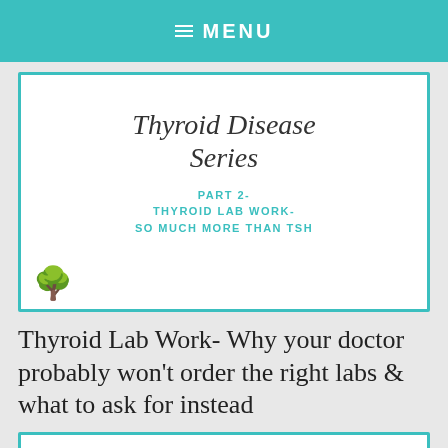☰ MENU
[Figure (illustration): Thyroid Disease Series card with teal border. Script text reads 'Thyroid Disease Series' followed by subtitle 'PART 2- THYROID LAB WORK- SO MUCH MORE THAN TSH'. Small tree illustration at bottom left of card.]
Thyroid Lab Work- Why your doctor probably won't order the right labs & what to ask for instead